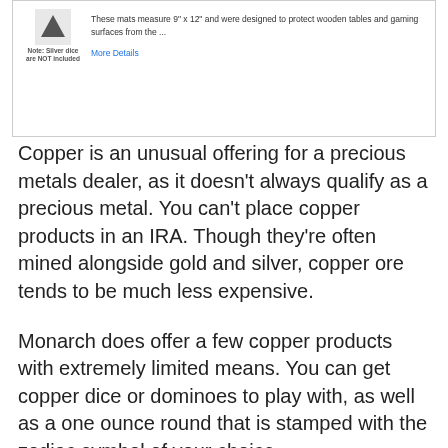[Figure (screenshot): Screenshot of a product listing showing a gaming mat icon with a note 'Silver dice are NOT included', product description text about mats measuring 9" x 12" designed to protect wooden tables and gaming surfaces, and a 'More Details' link.]
Copper is an unusual offering for a precious metals dealer, as it doesn't always qualify as a precious metal. You can't place copper products in an IRA. Though they're often mined alongside gold and silver, copper ore tends to be much less expensive.
Monarch does offer a few copper products with extremely limited means. You can get copper dice or dominoes to play with, as well as a one ounce round that is stamped with the zodiac symbol of your choice.
If you want to invest in a number of different copper products, you're probably better off